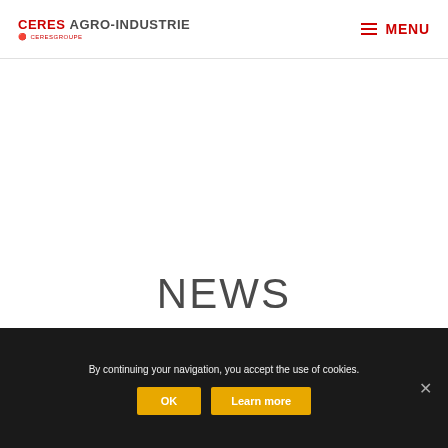CERES AGRO-INDUSTRIE | CERES GROUPE | MENU
NEWS
By continuing your navigation, you accept the use of cookies.
OK  Learn more